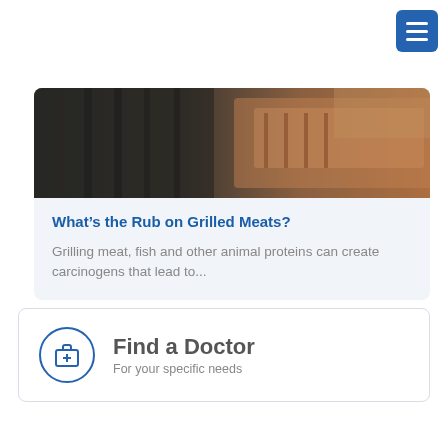[Figure (screenshot): Hamburger menu button (three horizontal white lines on blue rounded square background) in top-right corner]
[Figure (photo): Close-up photograph of meat/food grilling on a grill pan, warm tones with grill marks visible]
What’s the Rub on Grilled Meats?
Grilling meat, fish and other animal proteins can create carcinogens that lead to...
Find a Doctor
For your specific needs